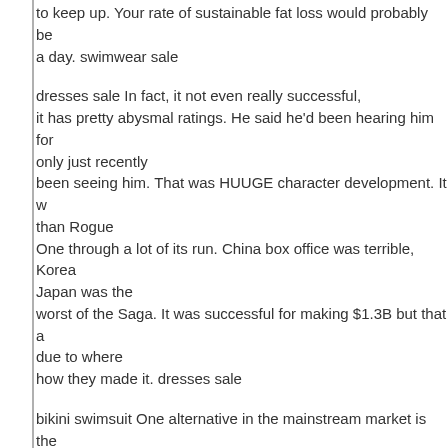to keep up. Your rate of sustainable fat loss would probably be a day. swimwear sale
dresses sale In fact, it not even really successful, it has pretty abysmal ratings. He said he'd been hearing him for only just recently been seeing him. That was HUUGE character development. It w than Rogue One through a lot of its run. China box office was terrible, Korea Japan was the worst of the Saga. It was successful for making $1.3B but that a due to where how they made it. dresses sale
bikini swimsuit One alternative in the mainstream market is the Fusion APUs. Like Intel's Core i3/i5, these are processors that include an IGP of the architecture, but AMD's version is a bit more powerful tha found on comparably priced Intel processors. The downside to the AMD